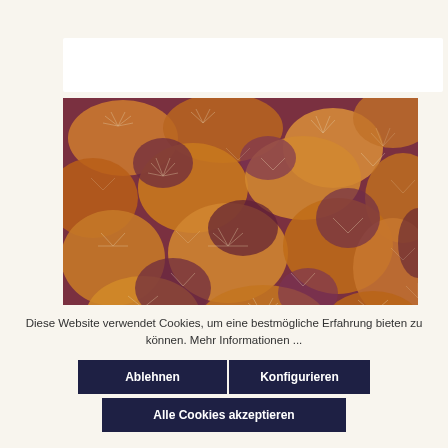[Figure (photo): Close-up photo of dried autumn leaves in brown, orange, and purple tones with spiky/feathery textures covering the entire frame]
Diese Website verwendet Cookies, um eine bestmögliche Erfahrung bieten zu können. Mehr Informationen ...
Ablehnen
Konfigurieren
Alle Cookies akzeptieren